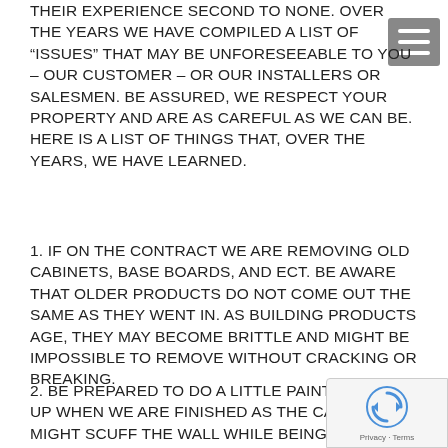THEIR EXPERIENCE SECOND TO NONE. OVER THE YEARS WE HAVE COMPILED A LIST OF “ISSUES” THAT MAY BE UNFORESEEABLE TO YOU – OUR CUSTOMER – OR OUR INSTALLERS OR SALESMEN. BE ASSURED, WE RESPECT YOUR PROPERTY AND ARE AS CAREFUL AS WE CAN BE. HERE IS A LIST OF THINGS THAT, OVER THE YEARS, WE HAVE LEARNED.
1. IF ON THE CONTRACT WE ARE REMOVING OLD CABINETS, BASE BOARDS, AND ECT. BE AWARE THAT OLDER PRODUCTS DO NOT COME OUT THE SAME AS THEY WENT IN. AS BUILDING PRODUCTS AGE, THEY MAY BECOME BRITTLE AND MIGHT BE IMPOSSIBLE TO REMOVE WITHOUT CRACKING OR BREAKING.
2. BE PREPARED TO DO A LITTLE PAINT TOUCH UP WHEN WE ARE FINISHED AS THE CABINETS MIGHT SCUFF THE WALL WHILE BEING